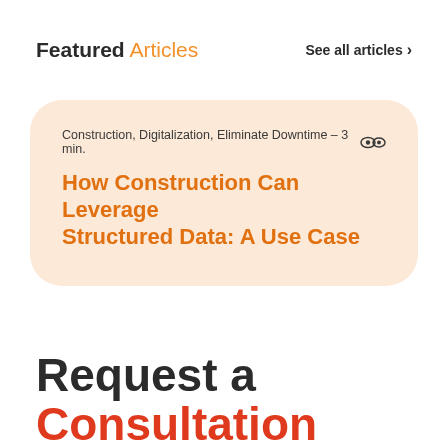Featured Articles
See all articles ›
Construction, Digitalization, Eliminate Downtime – 3 min.
How Construction Can Leverage Structured Data: A Use Case
Request a Consultation